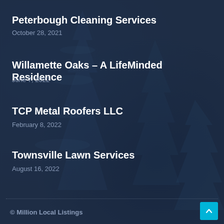Peterbough Cleaning Services
October 28, 2021
Willamette Oaks – A LifeMinded Residence
June 7, 2022
TCP Metal Roofers LLC
February 8, 2022
Townsville Lawn Services
August 16, 2022
© Million Local Listings